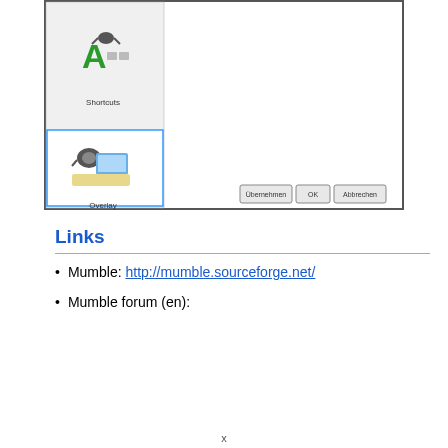[Figure (screenshot): Screenshot of a settings dialog window showing icons for 'Shortcuts' (green letter A with headphones icon) and 'Overlay' (headset with monitor icon) in a left panel, with buttons 'Übernehmen', 'OK', and 'Abbrechen' at bottom right.]
Links
Mumble: http://mumble.sourceforge.net/
Mumble forum (en):
x